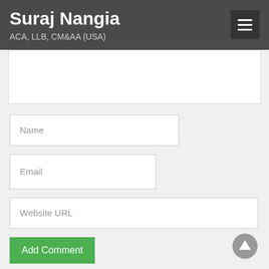Suraj Nangia
ACA, LLB, CM&AA (USA)
Name
Email
Website URL
Add Comment